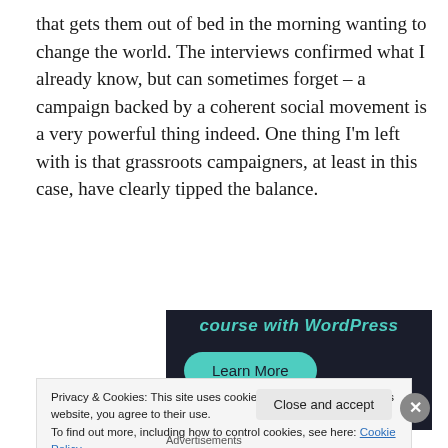that gets them out of bed in the morning wanting to change the world. The interviews confirmed what I already know, but can sometimes forget – a campaign backed by a coherent social movement is a very powerful thing indeed. One thing I'm left with is that grassroots campaigners, at least in this case, have clearly tipped the balance.
[Figure (screenshot): Dark-background advertisement banner showing 'course with WordPress' text in teal italic and a teal 'Learn More' button]
Privacy & Cookies: This site uses cookies. By continuing to use this website, you agree to their use.
To find out more, including how to control cookies, see here: Cookie Policy
Advertisements